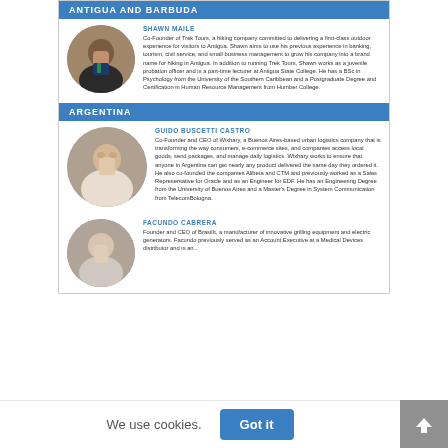ANTIGUA AND BARBUDA
SHAWN MAILE
Co-Founder of Trek Tours, a hiking company committed to delivering a first-class outdoor experience for visitors to Antigua. Shawn aims to use his previous experience in banking, tourism, civil service, and small business management to grow his company into a brand name for hiking in Antigua. In addition to running Trek Tours, Shawn works as a juvenile probation officer and is a part-time lecturer at Antigua State College. He has a BSc in Psychology from the University of the Southern Caribbean and a Postgraduate Degree and Certification in Human Resource Management from Humber College.
ARGENTINA
GUIDO BUSCETTI CASTRO
Co-Founder and CEO of Wixhary, a Buenos Aires-based urban logistics company that is transforming the way consumers, e-commerce sites, and companies access local goods, send packages, and manage daily logistics. Wixhary works to ensure that anyone in Argentina can get nearly any product delivered the same day they ordered it. He also co-founded the companies Alibeta and CTM and previously worked as a Sales Representative for Oracle and as an Engineer for EDF. He has an Engineering Degree from the University of Buenos Aires and a Master's Degree in System Communication from TelecomBologna.
FACUNDO CABRERA
Founder and CEO of BrasilIt, a manufacturer of innovative grilling equipment and electric generators. Facundo previously served as...
YLAI FELLOW BIOGRAPHIES - ANTIGUA AND BARBUDA ARGENTINA - MERIDIAN INTERNATIONAL CENTER
Sports
English
We use cookies.